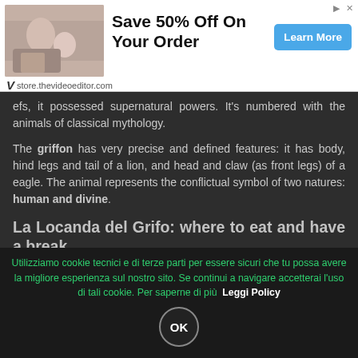[Figure (infographic): Advertisement banner: photo of grandmother and child reading together on left, large text 'Save 50% Off On Your Order' in center, blue 'Learn More' button on right, 'store.thevideoeditor.com' URL at bottom left with V logo]
efs, it possessed supernatural powers. It's numbered with the animals of classical mythology.
The griffon has very precise and defined features: it has body, hind legs and tail of a lion, and head and claw (as front legs) of a eagle. The animal represents the conflictual symbol of two natures: human and divine.
La Locanda del Grifo: where to eat and have a break
[Figure (photo): Dark photo of food/restaurant scene, partially visible]
Utilizziamo cookie tecnici e di terze parti per essere sicuri che tu possa avere la migliore esperienza sul nostro sito. Se continui a navigare accetterai l'uso di tali cookie. Per saperne di più  Leggi Policy  OK